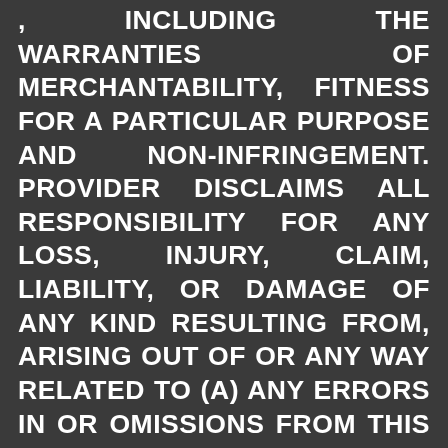, INCLUDING THE WARRANTIES OF MERCHANTABILITY, FITNESS FOR A PARTICULAR PURPOSE AND NON-INFRINGEMENT. PROVIDER DISCLAIMS ALL RESPONSIBILITY FOR ANY LOSS, INJURY, CLAIM, LIABILITY, OR DAMAGE OF ANY KIND RESULTING FROM, ARISING OUT OF OR ANY WAY RELATED TO (A) ANY ERRORS IN OR OMISSIONS FROM THIS WEB SITE AND THE CONTENT, INCLUDING, BUT NOT LIMITED TO, TECHNICAL INACCURACIES AND TYPOGRAPHICAL ERRORS. (B)